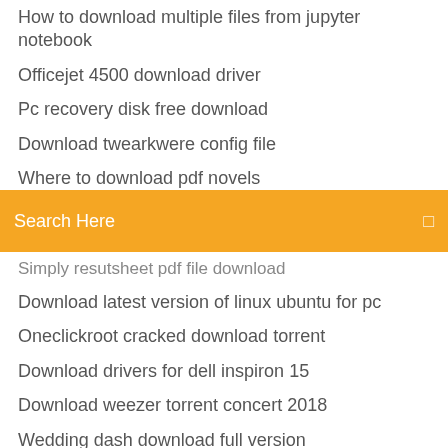How to download multiple files from jupyter notebook
Officejet 4500 download driver
Pc recovery disk free download
Download twearkwere config file
Where to download pdf novels
Hana odbc driver download
Search Here
Simply resutsheet pdf file download
Download latest version of linux ubuntu for pc
Oneclickroot cracked download torrent
Download drivers for dell inspiron 15
Download weezer torrent concert 2018
Wedding dash download full version
Download apps in zte phone
Window 7 themes download free for pc
Hp laserjet professional m1132 mfp driver download
Windows shortcut keys pdf free download
Splice download failed on app